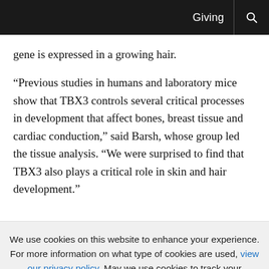Giving
gene is expressed in a growing hair.
“Previous studies in humans and laboratory mice show that TBX3 controls several critical processes in development that affect bones, breast tissue and cardiac conduction,” said Barsh, whose group led the tissue analysis. “We were surprised to find that TBX3 also plays a critical role in skin and hair development.”
We use cookies on this website to enhance your experience. For more information on what type of cookies are used, view our privacy policy. May we use cookies to track your activities? Yes No